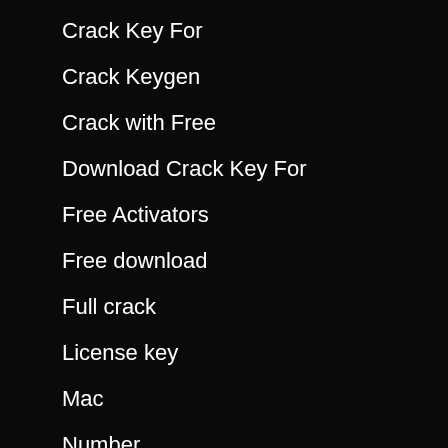Crack Key For
Crack Keygen
Crack with Free
Download Crack Key For
Free Activators
Free download
Full crack
License key
Mac
Number